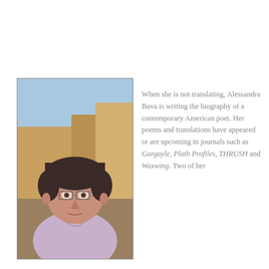[Figure (photo): Portrait photo of Alessandra Bava, a woman with short dark hair and glasses, wearing a light purple top, photographed outdoors with a building and blue sky in the background.]
When she is not translating, Alessandra Bava is writing the biography of a contemporary American poet. Her poems and translations have appeared or are upcoming in journals such as Gargoyle, Plath Profiles, THRUSH and Waxwing. Two of her